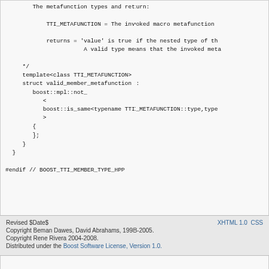The metafunction types and return:

    TTI_METAFUNCTION = The invoked macro metafunction

    returns = 'value' is true if the nested type of th
               A valid type means that the invoked meta

*/
template<class TTI_METAFUNCTION>
struct valid_member_metafunction :
   boost::mpl::not_
      <
      boost::is_same<typename TTI_METAFUNCTION::type,type
      >
   {
   };
}
}

#endif // BOOST_TTI_MEMBER_TYPE_HPP
Revised $Date$
Copyright Beman Dawes, David Abrahams, 1998-2005.
Copyright Rene Rivera 2004-2008.
Distributed under the Boost Software License, Version 1.0.